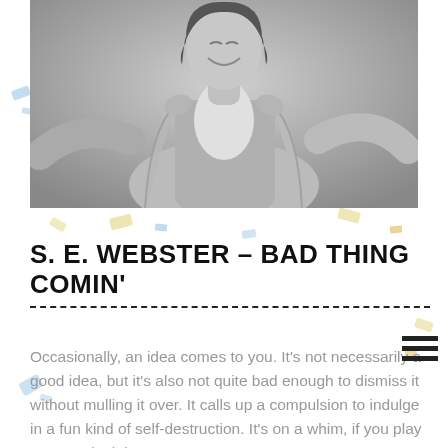[Figure (photo): Black and white photo of a person laughing, pulling open a cardigan/jacket with both hands, posing playfully against a light gray background.]
S. E. WEBSTER – BAD THING COMIN'
Occasionally, an idea comes to you. It's not necessarily a good idea, but it's also not quite bad enough to dismiss it without mulling it over. It calls up a compulsion to indulge in a fun kind of self-destruction. It's on a whim, if you play your cards right…